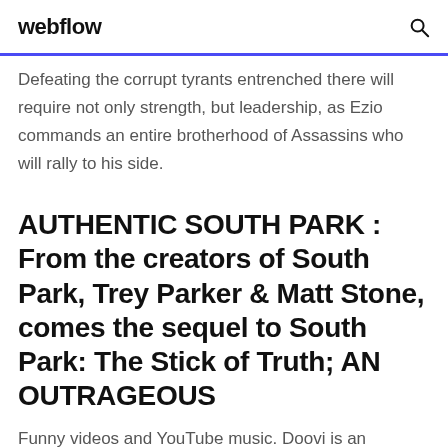webflow
Defeating the corrupt tyrants entrenched there will require not only strength, but leadership, as Ezio commands an entire brotherhood of Assassins who will rally to his side.
AUTHENTIC SOUTH PARK : From the creators of South Park, Trey Parker & Matt Stone, comes the sequel to South Park: The Stick of Truth; AN OUTRAGEOUS
Funny videos and YouTube music. Doovi is an ultimate portal that finds the best YouTube